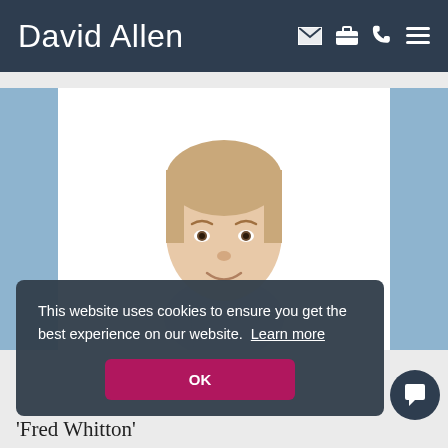David Allen
[Figure (photo): Portrait photo of a young man with light brown hair wearing a light blue shirt, smiling, on white background, flanked by blue decorative bars on left and right]
This website uses cookies to ensure you get the best experience on our website. Learn more
OK
‘Fred Whitton’